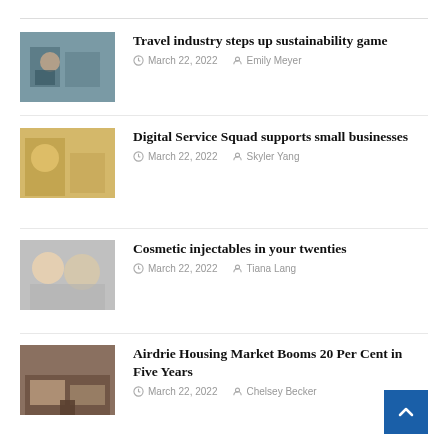Travel industry steps up sustainability game — March 22, 2022 — Emily Meyer
Digital Service Squad supports small businesses — March 22, 2022 — Skyler Yang
Cosmetic injectables in your twenties — March 22, 2022 — Tiana Lang
Airdrie Housing Market Booms 20 Per Cent in Five Years — March 22, 2022 — Chelsey Becker